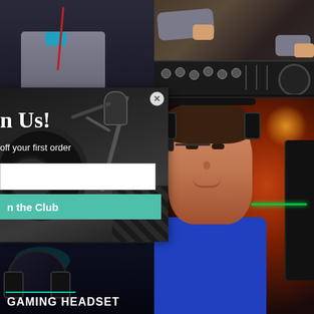[Figure (photo): Top right: Person's hands operating DJ equipment/turntable, dark background]
[Figure (photo): Middle/bottom right: Young man wearing gaming headset with microphone, blue shirt with red stripe, ambient orange/red lighting]
[Figure (photo): Popup overlay on left: Studio headphones and microphone in recording studio with acoustic panels]
n Us!
off your first order
n the Club
[Figure (photo): Bottom left: Dark gaming headset product photo with teal accent lighting]
GAMING HEADSET